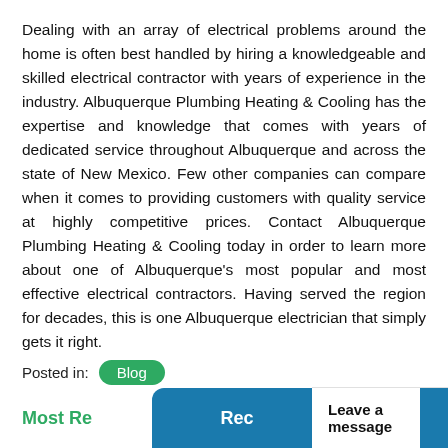Dealing with an array of electrical problems around the home is often best handled by hiring a knowledgeable and skilled electrical contractor with years of experience in the industry. Albuquerque Plumbing Heating & Cooling has the expertise and knowledge that comes with years of dedicated service throughout Albuquerque and across the state of New Mexico. Few other companies can compare when it comes to providing customers with quality service at highly competitive prices. Contact Albuquerque Plumbing Heating & Cooling today in order to learn more about one of Albuquerque's most popular and most effective electrical contractors. Having served the region for decades, this is one Albuquerque electrician that simply gets it right.
Posted in: Blog
Most Re... | Rec... | Leave a message